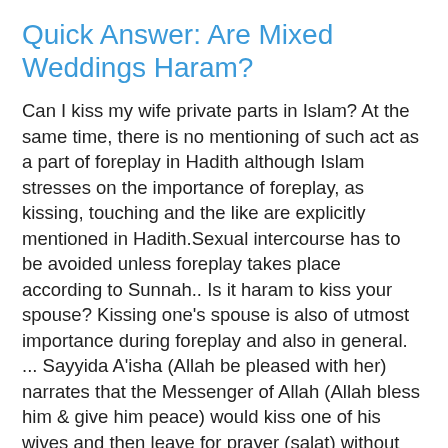Quick Answer: Are Mixed Weddings Haram?
Can I kiss my wife private parts in Islam? At the same time, there is no mentioning of such act as a part of foreplay in Hadith although Islam stresses on the importance of foreplay, as kissing, touching and the like are explicitly mentioned in Hadith.Sexual intercourse has to be avoided unless foreplay takes place according to Sunnah.. Is it haram to kiss your spouse? Kissing one's spouse is also of utmost importance during foreplay and also in general. ... Sayyida A'isha (Allah be pleased with her) narrates that the Messenger of Allah (Allah bless him & give him peace) would kiss one of his wives and then leave for prayer (salat) without performing ablution (wudu). Is Tik Tok Haram? Tik tok is not haram in Islam. Tik tok has many benefits and can be used